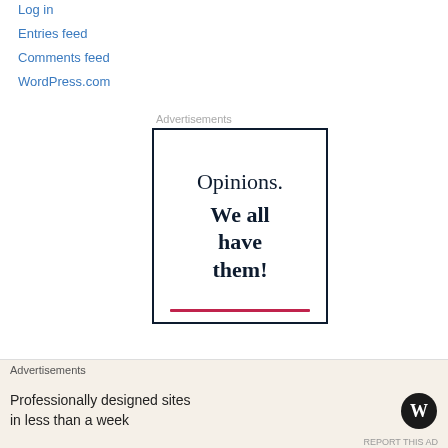Log in
Entries feed
Comments feed
WordPress.com
Advertisements
[Figure (illustration): Advertisement banner with text: Opinions. We all have them! with a red underline at the bottom.]
[Figure (illustration): Close/dismiss button (X in circle) for the advertisement]
Advertisements
[Figure (illustration): WordPress advertisement: Professionally designed sites in less than a week, with WordPress logo]
REPORT THIS AD